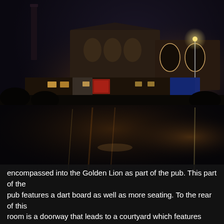[Figure (photo): Night-time photograph of an industrial or commercial area with brick buildings, illuminated by warm orange and yellow lights. A tall chimney stack is visible on the left. The lower half of the image shows a dark water reflection of the scene above. The photograph appears to be taken from across a canal or body of water.]
encompassed into the Golden Lion as part of the pub. This part of the pub features a dart board as well as more seating. To the rear of this room is a doorway that leads to a courtyard which features